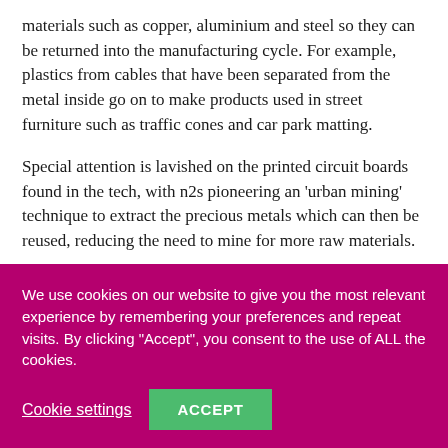materials such as copper, aluminium and steel so they can be returned into the manufacturing cycle. For example, plastics from cables that have been separated from the metal inside go on to make products used in street furniture such as traffic cones and car park matting.
Special attention is lavished on the printed circuit boards found in the tech, with n2s pioneering an 'urban mining' technique to extract the precious metals which can then be reused, reducing the need to mine for more raw materials.
We use cookies on our website to give you the most relevant experience by remembering your preferences and repeat visits. By clicking "Accept", you consent to the use of ALL the cookies.
Cookie settings
ACCEPT